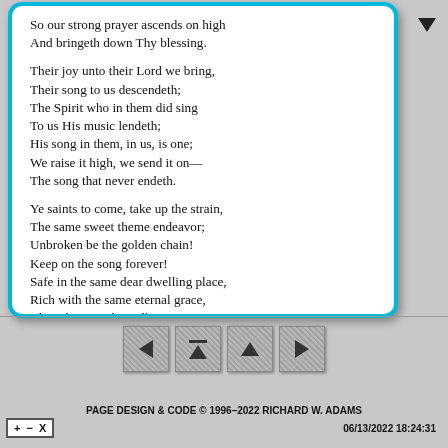So our strong prayer ascends on high
And bringeth down Thy blessing.

Their joy unto their Lord we bring,
Their song to us descendeth;
The Spirit who in them did sing
To us His music lendeth;
His song in them, in us, is one;
We raise it high, we send it on—
The song that never endeth.

Ye saints to come, take up the strain,
The same sweet theme endeavor;
Unbroken be the golden chain!
Keep on the song forever!
Safe in the same dear dwelling place,
Rich with the same eternal grace,
Bless the same boundless giver.
PAGE DESIGN & CODE © 1996–2022 RICHARD W. ADAMS
06/13/2022 18:24:31